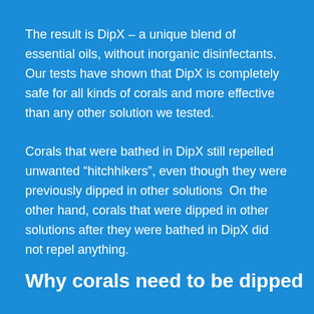The result is DipX – a unique blend of essential oils, without inorganic disinfectants. Our tests have shown that DipX is completely safe for all kinds of corals and more effective than any other solution we tested.
Corals that were bathed in DipX still repelled unwanted “hichhikers”, even though they were previously dipped in other solutions  On the other hand, corals that were dipped in other solutions after they were bathed in DipX did not repel anything.
Why corals need to be dipped